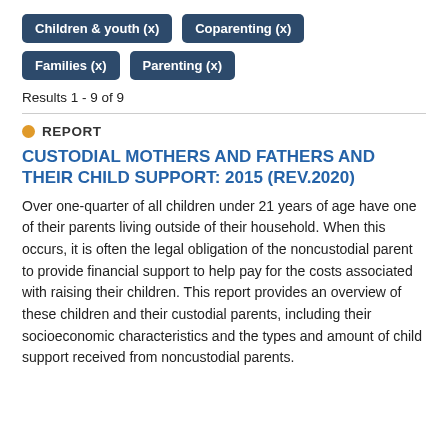Children & youth (x)
Coparenting (x)
Families (x)
Parenting (x)
Results 1 - 9 of 9
REPORT
CUSTODIAL MOTHERS AND FATHERS AND THEIR CHILD SUPPORT: 2015 (REV.2020)
Over one-quarter of all children under 21 years of age have one of their parents living outside of their household. When this occurs, it is often the legal obligation of the noncustodial parent to provide financial support to help pay for the costs associated with raising their children. This report provides an overview of these children and their custodial parents, including their socioeconomic characteristics and the types and amount of child support received from noncustodial parents.